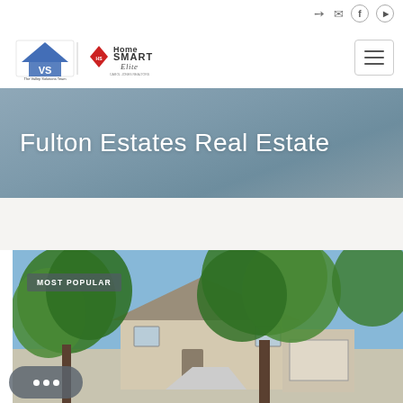Navigation icons: login, email, facebook, youtube
[Figure (logo): The Valley Solutions Team logo with house icon and HomeSmart Elite logo]
Fulton Estates Real Estate
[Figure (photo): Exterior photo of a house with large green trees in foreground and blue sky, labeled MOST POPULAR]
MOST POPULAR